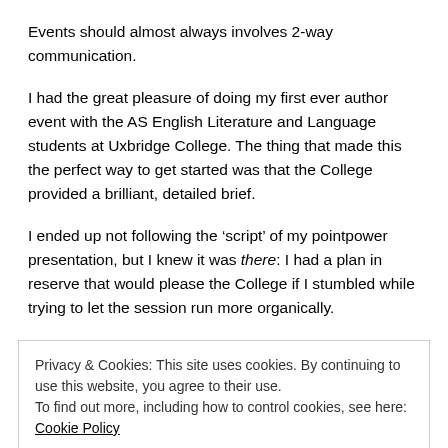Events should almost always involves 2-way communication.
I had the great pleasure of doing my first ever author event with the AS English Literature and Language students at Uxbridge College. The thing that made this the perfect way to get started was that the College provided a brilliant, detailed brief.
I ended up not following the ‘script’ of my pointpower presentation, but I knew it was there: I had a plan in reserve that would please the College if I stumbled while trying to let the session run more organically.
Having a good backup plan meant that I could approach the session
Privacy & Cookies: This site uses cookies. By continuing to use this website, you agree to their use.
To find out more, including how to control cookies, see here: Cookie Policy
Close and accept